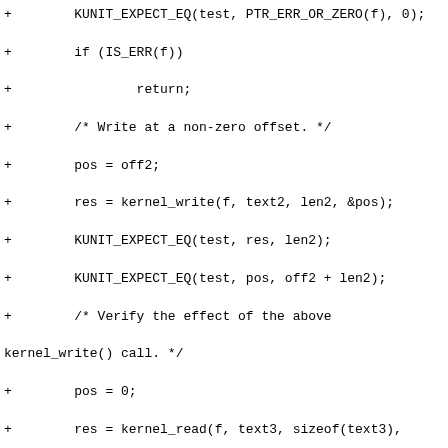Code diff showing kernel_write and kernel_read test assertions including KUNIT_EXPECT_EQ and KUNIT_EXPECT_STREQ calls